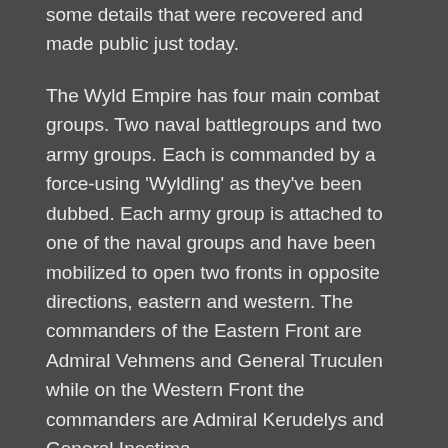some details that were recovered and made public just today.
The Wyld Empire has four main combat groups. Two naval battlegroups and two army groups. Each is commanded by a force-using 'Wyldling' as they've been dubbed. Each army group is attached to one of the naval groups and have been mobilized to open two fronts in opposite directions, eastern and western. The commanders of the Eastern Front are Admiral Vehmens and General Truculen while on the Western Front the commanders are Admiral Kerudelys and General Inestima.
With the setbacks of occupying Svivren and the continued partisan movement only gaining strength on Skynara, the Empire has opened up its two fronts and have used their trademark tactics to stomp down ill-